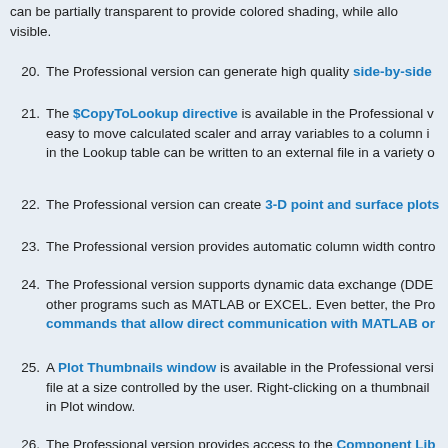can be partially transparent to provide colored shading, while allowing underlying content to remain visible.
20. The Professional version can generate high quality side-by-side
21. The $CopyToLookup directive is available in the Professional version and makes it easy to move calculated scaler and array variables to a column in the Lookup table. Data in the Lookup table can be written to an external file in a variety of formats.
22. The Professional version can create 3-D point and surface plots
23. The Professional version provides automatic column width control
24. The Professional version supports dynamic data exchange (DDE) and can exchange data with other programs such as MATLAB or EXCEL. Even better, the Professional version has commands that allow direct communication with MATLAB or
25. A Plot Thumbnails window is available in the Professional version. It displays each plot file at a size controlled by the user. Right-clicking on a thumbnail provides the option to open in Plot window.
26. The Professional version provides access to the Component Library